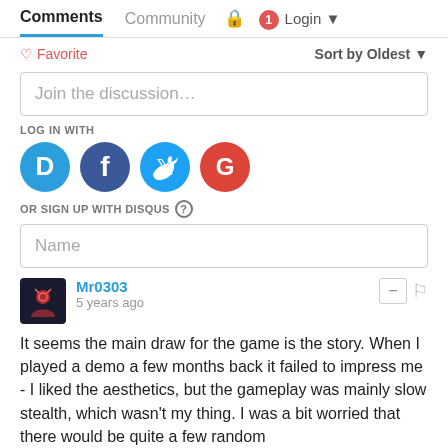Comments  Community  Login
♡ Favorite   Sort by Oldest
Join the discussion…
LOG IN WITH
[Figure (other): Social login icons: Disqus (D), Facebook (f), Twitter bird, Google (G)]
OR SIGN UP WITH DISQUS ?
Name
Mr0303
5 years ago
It seems the main draw for the game is the story. When I played a demo a few months back it failed to impress me - I liked the aesthetics, but the gameplay was mainly slow stealth, which wasn't my thing. I was a bit worried that there would be quite a few random